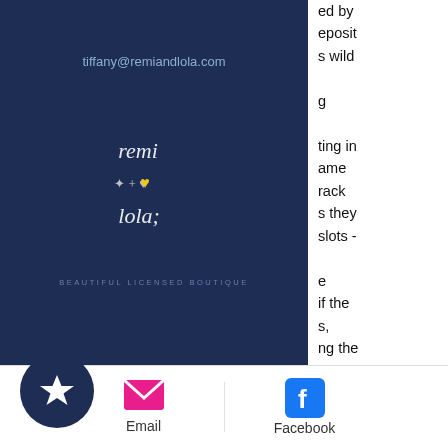[Figure (screenshot): Mobile website screenshot showing a dark navy navigation overlay panel with email address tiffany@remiandlola.com, a stylized logo for 'Remi and Lola', a hamburger menu icon, and a shopping cart icon with badge '0'. Behind the overlay, partial text is visible on the right side. Below are partial paragraphs about The Vault Club casino in Wiesbaden, Germany. A share bar at the bottom shows Email and Facebook options. A circular dark blue star/bookmark button is visible at bottom left.]